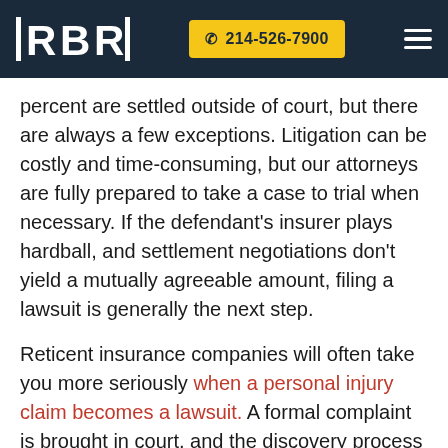RBR | 214-526-7900
percent are settled outside of court, but there are always a few exceptions. Litigation can be costly and time-consuming, but our attorneys are fully prepared to take a case to trial when necessary. If the defendant's insurer plays hardball, and settlement negotiations don't yield a mutually agreeable amount, filing a lawsuit is generally the next step.
Reticent insurance companies will often take you more seriously when a personal injury claim becomes a lawsuit. A formal complaint is brought in court, and the discovery process begins. Sometimes, the complaint is resolved through mediation, and those